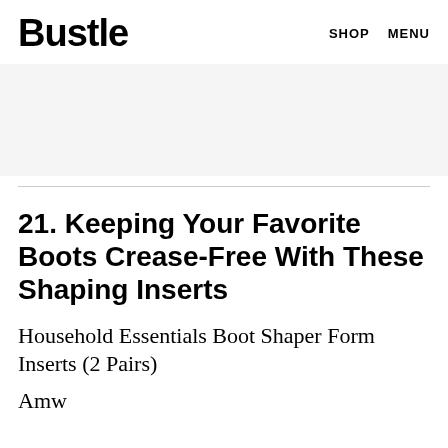Bustle   SHOP   MENU
[Figure (other): Advertisement banner area, light gray background]
21. Keeping Your Favorite Boots Crease-Free With These Shaping Inserts
Household Essentials Boot Shaper Form Inserts (2 Pairs)
Amw